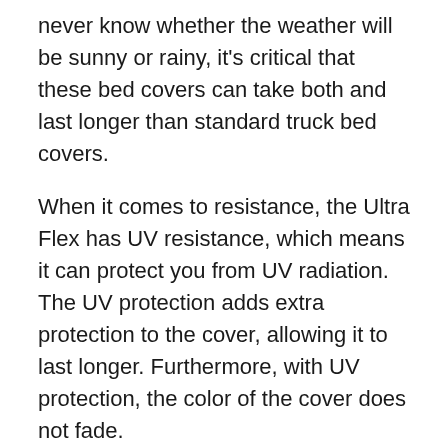never know whether the weather will be sunny or rainy, it's critical that these bed covers can take both and last longer than standard truck bed covers.
When it comes to resistance, the Ultra Flex has UV resistance, which means it can protect you from UV radiation. The UV protection adds extra protection to the cover, allowing it to last longer. Furthermore, with UV protection, the color of the cover does not fade.
Additionally, the UnderCover Ultra Flex is corrosion and dent resistant, allowing it to last longer and be more durable.
The Armor Flex, on the other hand, provides scratch, dent, and scuff resistance. It can also withstand any weather because it has a LINE-X grade coating. Ultra